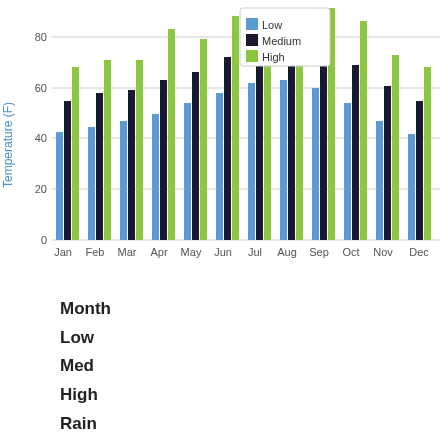[Figure (grouped-bar-chart): Temperature (F) by Month]
Month
  Low
  Med
  High
  Rain